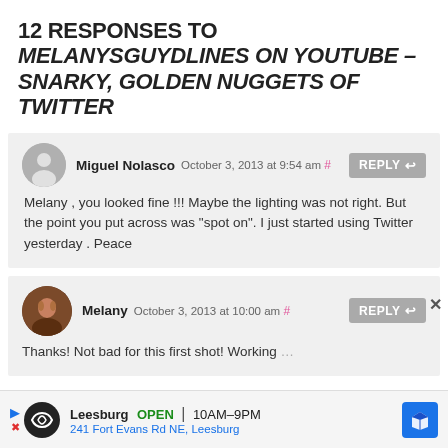12 RESPONSES TO MELANYSGUYDLINES ON YOUTUBE – SNARKY, GOLDEN NUGGETS OF TWITTER
Miguel Nolasco October 3, 2013 at 9:54 am
Melany , you looked fine !!! Maybe the lighting was not right. But the point you put across was "spot on". I just started using Twitter yesterday . Peace
Melany October 3, 2013 at 10:00 am
Thanks! Not bad for this first shot! Working
[Figure (infographic): Advertisement bar at the bottom: Leesburg OPEN 10AM-9PM, 241 Fort Evans Rd NE, Leesburg with map icon]